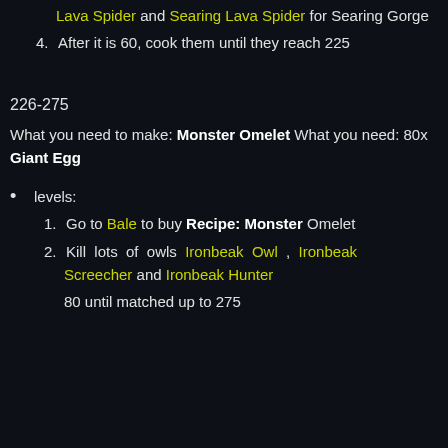Skitterer and Rock Stalker for Silitas and Greater Lava Spider and Searing Lava Spider for Searing Gorge
4. After it is 60, cook them until they reach 225
226-275
What you need to make: Monster Omelet What you need: 80x Giant Egg
levels:
1. Go to Bale to buy Recipe: Monster Omelet
2. Kill lots of owls Ironbeak Owl , Ironbeak Screecher and Ironbeak Hunter
80 until matched up to 275